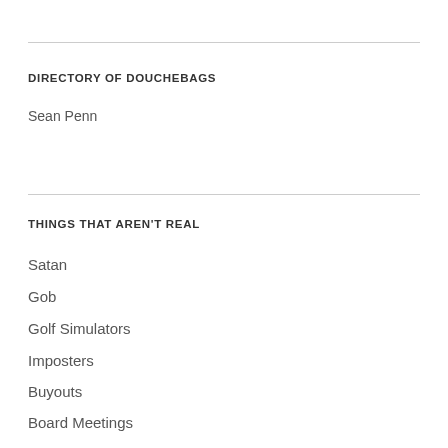DIRECTORY OF DOUCHEBAGS
Sean Penn
THINGS THAT AREN'T REAL
Satan
Gob
Golf Simulators
Imposters
Buyouts
Board Meetings